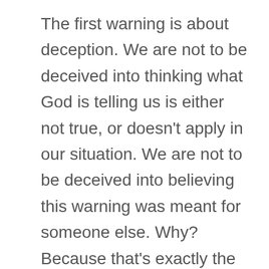The first warning is about deception. We are not to be deceived into thinking what God is telling us is either not true, or doesn't apply in our situation. We are not to be deceived into believing this warning was meant for someone else. Why? Because that's exactly the rationalization each of us makes regarding God's Word whenever His Word won't allow us to do what we want to do and what we think is right. After all, we want to